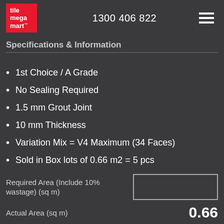tile mega mart™  1300 406 822
Specifications & Information
1st Choice / A Grade
No Sealing Required
1.5 mm Grout Joint
10 mm Thickness
Variation Mix = V4 Maximum (34 Faces)
Sold in Box lots of 0.66 m2 = 5 pcs
Required Area (Include 10% wastage) (sq m)
Actual Area (sq m)
0.66